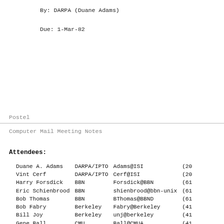By: DARPA (Duane Adams)
Due: 1-Mar-82
Postel
Computer Mail Meeting Notes                       8
Attendees:
| Name | Organization | Email | Phone |
| --- | --- | --- | --- |
| Duane A. Adams | DARPA/IPTO | Adams@ISI | (20 |
| Vint Cerf | DARPA/IPTO | Cerf@ISI | (20 |
| Harry Forsdick | BBN | Forsdick@BBN | (61 |
| Eric Schienbrood | BBN | shienbrood@bbn-unix | (61 |
| Bob Thomas | BBN | BThomas@BBND | (61 |
| Bob Fabry | Berkeley | Fabry@Berkeley | (41 |
| Bill Joy | Berkeley | unj@berkeley | (41 |
| Gene Ball | CMU | Ball@CMUA | (41 |
| Anil Agarwal | COMSAT | Agarwal@ISID | (30 |
| David L. Mills | COMSAT | Mills@ISID | (20 |
| Dave Crocker | Univ. Del | DCrocker@Udel | (30 |
| Ray McFarland | DoD | McFarland@ISIA | (30 |